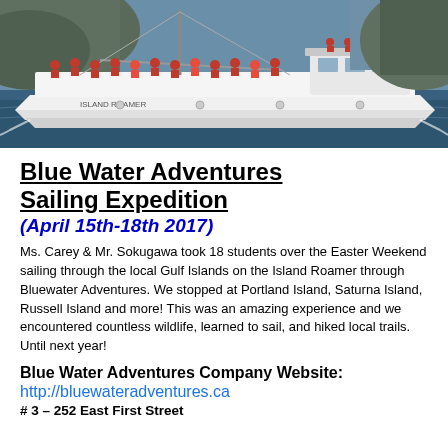[Figure (photo): A white sailboat named Island Roamer on the water with a group of students and adults in red life jackets standing on the deck and roof.]
Blue Water Adventures Sailing Expedition
(April 15th-18th 2017)
Ms. Carey & Mr. Sokugawa took 18 students over the Easter Weekend sailing through the local Gulf Islands on the Island Roamer through Bluewater Adventures. We stopped at Portland Island, Saturna Island, Russell Island and more! This was an amazing experience and we encountered countless wildlife, learned to sail, and hiked local trails. Until next year!
Blue Water Adventures Company Website:
http://bluewateradventures.ca
# 3 – 252 East First Street